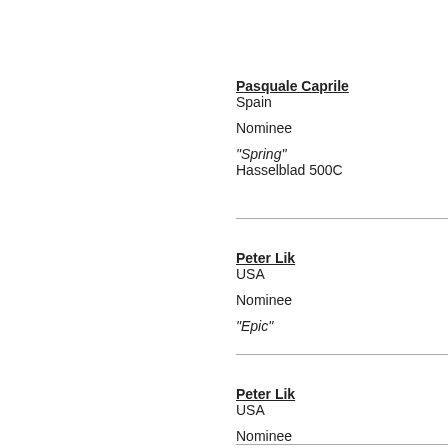Pasquale Caprile
Spain

Nominee

"Spring"
Hasselblad 500C
Peter Lik
USA

Nominee

"Epic"
Peter Lik
USA

Nominee

"Morning Calm"